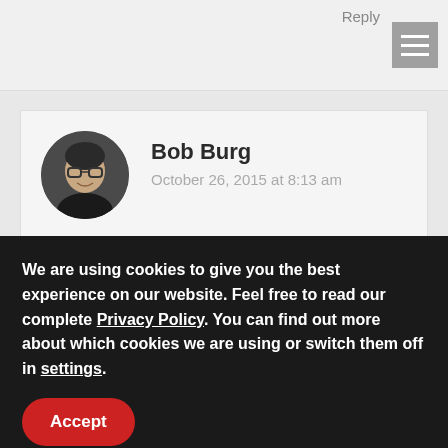Reply
[Figure (screenshot): Hamburger menu icon — three horizontal white lines on a grey square background]
[Figure (photo): Circular avatar photo of Bob Burg, a man with glasses and dark clothing]
Bob Burg
October 26, 2015 at 8:13 am
Thank you, Gary. So glad you enjoyed the post and the analogy. Yes, Dr. Joey Faucette. Great guy. Hadn't heard from him in a while. I'm so glad the two of you were able to meet up. I can
We are using cookies to give you the best experience on our website. Feel free to read our complete Privacy Policy. You can find out more about which cookies we are using or switch them off in settings.
Accept